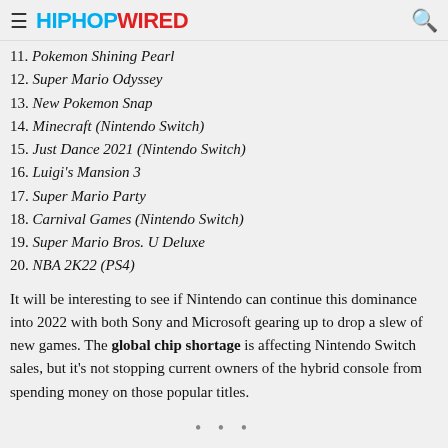HipHopWired
11. Pokemon Shining Pearl
12. Super Mario Odyssey
13. New Pokemon Snap
14. Minecraft (Nintendo Switch)
15. Just Dance 2021 (Nintendo Switch)
16. Luigi's Mansion 3
17. Super Mario Party
18. Carnival Games (Nintendo Switch)
19. Super Mario Bros. U Deluxe
20. NBA 2K22 (PS4)
It will be interesting to see if Nintendo can continue this dominance into 2022 with both Sony and Microsoft gearing up to drop a slew of new games. The global chip shortage is affecting Nintendo Switch sales, but it's not stopping current owners of the hybrid console from spending money on those popular titles.